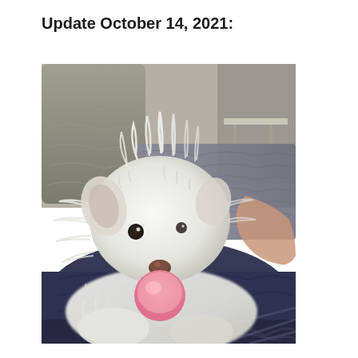Update October 14, 2021:
[Figure (photo): A small white fluffy dog with a pink tongue sticking out, lying on a person's lap on what appears to be a dark blue fabric surface, with a gray blanket and couch visible in the background.]